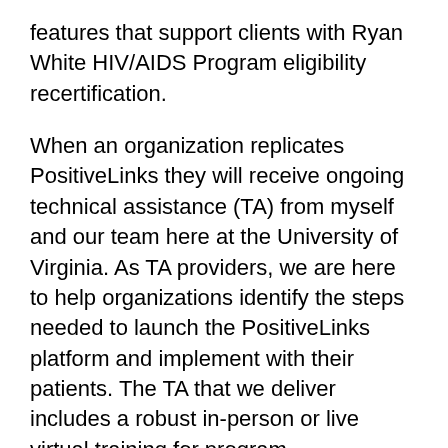features that support clients with Ryan White HIV/AIDS Program eligibility recertification.
When an organization replicates PositiveLinks they will receive ongoing technical assistance (TA) from myself and our team here at the University of Virginia. As TA providers, we are here to help organizations identify the steps needed to launch the PositiveLinks platform and implement with their patients. The TA that we deliver includes a robust in-person or live virtual training for program implementors, a web-based learning management system, as well as a certification program. Over the course of my career, I have supported harm reduction and HIV programs across the country. It has been such an amazing and unique opportunity to be part of a project, like PositiveLinks, that has gone from study to implementation as usual care